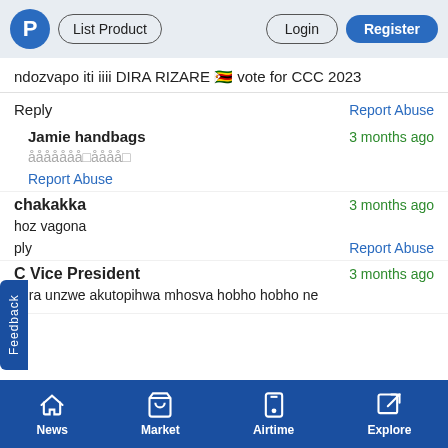P | List Product | Login | Register
ndozvapo iti iiii DIRA RIZARE 🇿🇼 vote for CCC 2023
Reply                                          Report Abuse
Jamie handbags  3 months ago
ååååååå□åååå□
Report Abuse
chakakka  3 months ago
hoz vagona
ply                                            Report Abuse
C Vice President  3 months ago
Mira unzwe akutopihwa mhosva hobho hobho ne
Feedback
News | Market | Airtime | Explore